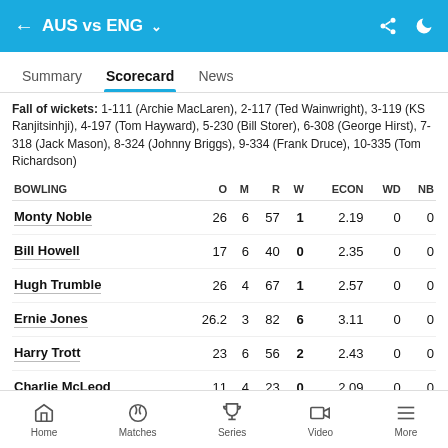AUS vs ENG
Summary  Scorecard  News
Fall of wickets: 1-111 (Archie MacLaren), 2-117 (Ted Wainwright), 3-119 (KS Ranjitsinhji), 4-197 (Tom Hayward), 5-230 (Bill Storer), 6-308 (George Hirst), 7-318 (Jack Mason), 8-324 (Johnny Briggs), 9-334 (Frank Druce), 10-335 (Tom Richardson)
| BOWLING | O | M | R | W | ECON | WD | NB |
| --- | --- | --- | --- | --- | --- | --- | --- |
| Monty Noble | 26 | 6 | 57 | 1 | 2.19 | 0 | 0 |
| Bill Howell | 17 | 6 | 40 | 0 | 2.35 | 0 | 0 |
| Hugh Trumble | 26 | 4 | 67 | 1 | 2.57 | 0 | 0 |
| Ernie Jones | 26.2 | 3 | 82 | 6 | 3.11 | 0 | 0 |
| Harry Trott | 23 | 6 | 56 | 2 | 2.43 | 0 | 0 |
| Charlie McLeod | 11 | 4 | 23 | 0 | 2.09 | 0 | 0 |
Home  Matches  Series  Video  More